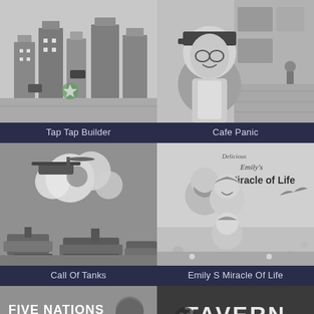[Figure (screenshot): Game screenshot: Tap Tap Builder - isometric city builder with buildings and vehicles in grayscale]
Tap Tap Builder
[Figure (screenshot): Game screenshot: Cafe Panic - character with coffee shop hat, cafe interior in background, grayscale]
Cafe Panic
[Figure (screenshot): Game screenshot: Call Of Tanks - military tanks and helicopters with explosions in grayscale]
Call Of Tanks
[Figure (screenshot): Game screenshot: Emily S Miracle Of Life - animated characters family scene with Delicious Emily's Miracle of Life logo, grayscale]
Emily S Miracle Of Life
[Figure (screenshot): Game screenshot: Five Nations - logo with FIVE NATIONS text and creature, grayscale]
[Figure (screenshot): Game screenshot: Tavern - TAVERN text logo on dark background, grayscale]